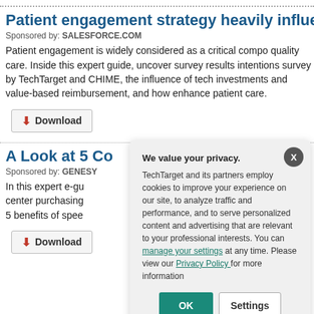Patient engagement strategy heavily influences te
Sponsored by: SALESFORCE.COM
Patient engagement is widely considered as a critical compo quality care. Inside this expert guide, uncover survey results intentions survey by TechTarget and CHIME, the influence of tech investments and value-based reimbursement, and how enhance patient care.
[Figure (screenshot): Download button with red download icon]
A Look at 5 Co
Sponsored by: GENESY
In this expert e-gu center purchasing 5 benefits of spee
[Figure (screenshot): Download button with red download icon]
We value your privacy. TechTarget and its partners employ cookies to improve your experience on our site, to analyze traffic and performance, and to serve personalized content and advertising that are relevant to your professional interests. You can manage your settings at any time. Please view our Privacy Policy for more information
[Figure (screenshot): Privacy consent modal with OK and Settings buttons]